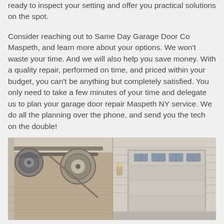ready to inspect your setting and offer you practical solutions on the spot.
Consider reaching out to Same Day Garage Door Co Maspeth, and learn more about your options. We won't waste your time. And we will also help you save money. With a quality repair, performed on time, and priced within your budget, you can't be anything but completely satisfied. You only need to take a few minutes of your time and delegate us to plan your garage door repair Maspeth NY service. We do all the planning over the phone, and send you the tech on the double!
[Figure (photo): A garage door repair image showing the interior mechanism (spring/drum assembly) on the left side and an exterior view of a residential garage door on the right side.]